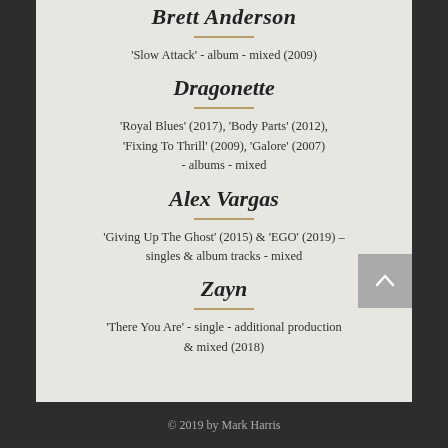Brett Anderson
'Slow Attack' - album - mixed (2009)
Dragonette
'Royal Blues' (2017), 'Body Parts' (2012), 'Fixing To Thrill' (2009), 'Galore' (2007) - albums - mixed
Alex Vargas
'Giving Up The Ghost' (2015) & 'EGO' (2019) - singles & album tracks - mixed
Zayn
'There You Are' - single - additional production & mixed (2018)
© 2019 by Mark Harris